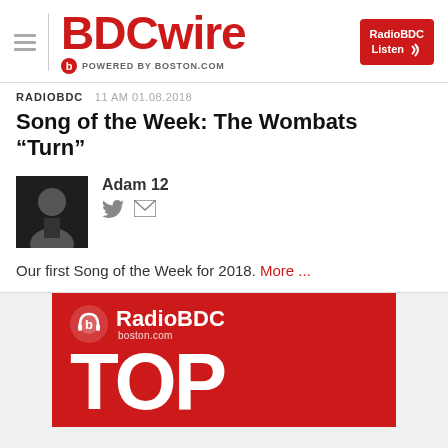BDCwire — POWERED BY BOSTON.COM
RADIOBDC  11 AM 01.08.2018
Song of the Week: The Wombats “Turn”
Adam 12
Our first Song of the Week for 2018. More ...
[Figure (logo): RadioBDC boston.com TOP banner in red]